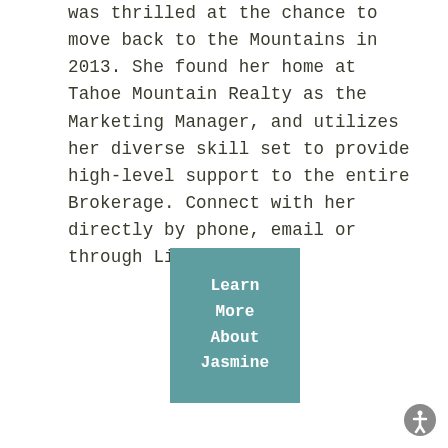was thrilled at the chance to move back to the Mountains in 2013. She found her home at Tahoe Mountain Realty as the Marketing Manager, and utilizes her diverse skill set to provide high-level support to the entire Brokerage. Connect with her directly by phone, email or through LinkedIn.
[Figure (other): Teal/muted green rectangular button with white bold text reading 'Learn More About Jasmine' on four lines]